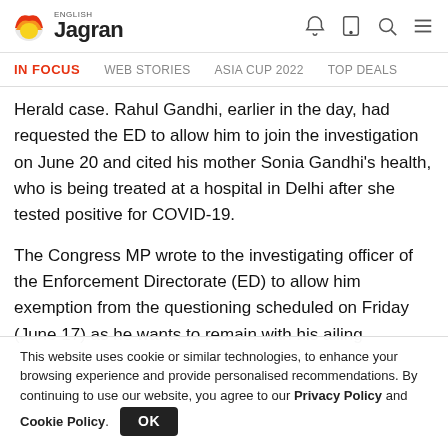[Figure (logo): English Jagran logo with flame/sun icon]
IN FOCUS   WEB STORIES   ASIA CUP 2022   TOP DEALS
Herald case. Rahul Gandhi, earlier in the day, had requested the ED to allow him to join the investigation on June 20 and cited his mother Sonia Gandhi's health, who is being treated at a hospital in Delhi after she tested positive for COVID-19.
The Congress MP wrote to the investigating officer of the Enforcement Directorate (ED) to allow him exemption from the questioning scheduled on Friday (June 17) as he wants to remain with his ailing
This website uses cookie or similar technologies, to enhance your browsing experience and provide personalised recommendations. By continuing to use our website, you agree to our Privacy Policy and Cookie Policy.  OK